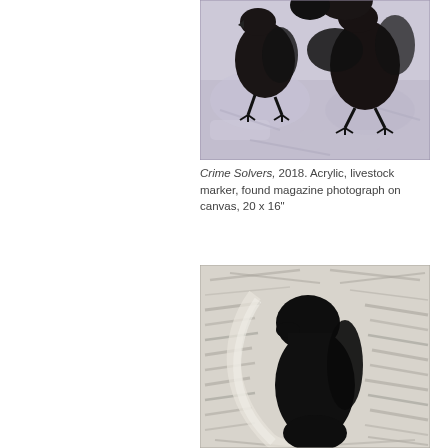[Figure (photo): Painting showing dark birds (crows/ravens) on a textured light lavender/grey background, acrylic and livestock marker on found magazine photograph on canvas.]
Crime Solvers, 2018. Acrylic, livestock marker, found magazine photograph on canvas, 20 x 16"
[Figure (photo): Charcoal or chalk drawing showing a dark silhouette of a bird (crow/raven) in profile against a heavily textured light background with expressive mark-making.]